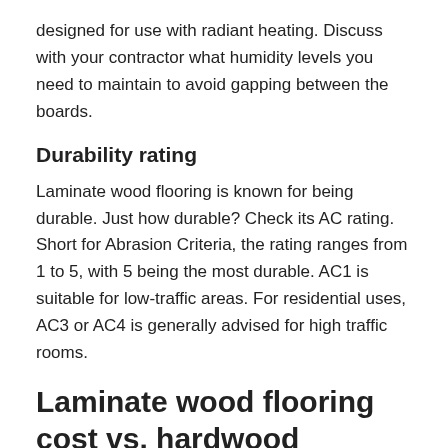designed for use with radiant heating. Discuss with your contractor what humidity levels you need to maintain to avoid gapping between the boards.
Durability rating
Laminate wood flooring is known for being durable. Just how durable? Check its AC rating. Short for Abrasion Criteria, the rating ranges from 1 to 5, with 5 being the most durable. AC1 is suitable for low-traffic areas. For residential uses, AC3 or AC4 is generally advised for high traffic rooms.
Laminate wood flooring cost vs. hardwood
Obviously, solid hardwood flooring comes from planks milled from real trees. And that explains why, generally speaking, solid hardwood floors cost more than laminate flooring. The price is tied to factors such as weather, the rareness of wood, and